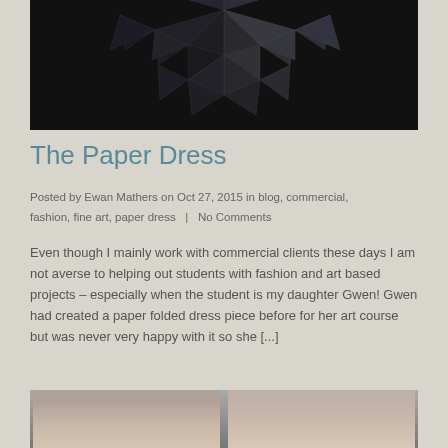[Figure (photo): Dark background with origami/paper folded geometric sculpture with faceted metallic-dark surface]
The Paper Dress
Posted by Ewan Mathers on Oct 27, 2015 in blog, commercial, fashion, fine art, paper dress | No Comments
Even though I mainly work with commercial clients these days I am not averse to helping out students with fashion and art based projects – especially when the student is my daughter Gwen!  Gwen had created a paper folded dress piece before for her art course but was never very happy with it so she [...]
[Figure (photo): Two women photographed together, one with red/auburn hair on the left and one with curly blonde hair on the right, photographed indoors]